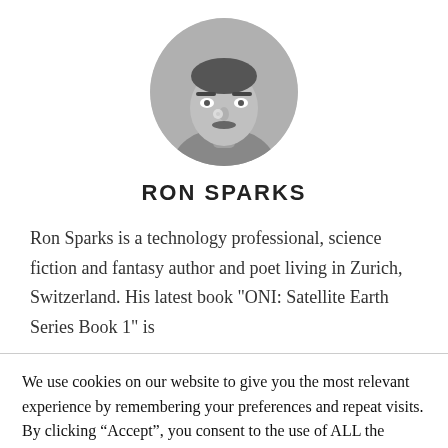[Figure (photo): Circular black and white portrait photo of Ron Sparks]
RON SPARKS
Ron Sparks is a technology professional, science fiction and fantasy author and poet living in Zurich, Switzerland. His latest book "ONI: Satellite Earth Series Book 1" is
We use cookies on our website to give you the most relevant experience by remembering your preferences and repeat visits. By clicking “Accept”, you consent to the use of ALL the cookies.
Cookie settings  ACCEPT